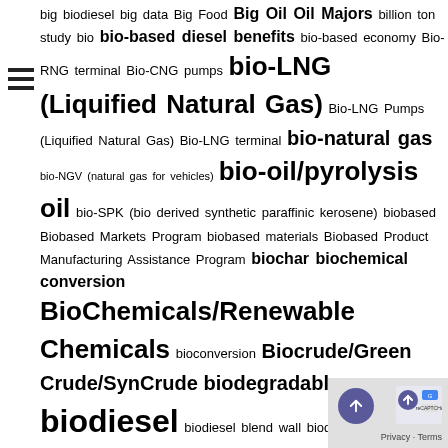big biodiesel big data Big Food Big Oil Oil Majors billion ton study bio bio-based diesel benefits bio-based economy Bio- RNG terminal Bio-CNG pumps bio-LNG (Liquified Natural Gas) Bio-LNG Pumps (Liquified Natural Gas) Bio-LNG terminal bio-natural gas bio-NGV (natural gas for vehicles) bio-oil/pyrolysis oil bio-SPK (bio derived synthetic paraffinic kerosene) biobased Biobased Markets Program biobased materials Biobased Product Manufacturing Assistance Program biochar biochemical conversion BioChemicals/Renewable Chemicals bioconversion Biocrude/Green Crude/SynCrude biodegradable biodies biodiesel biodiesel blend wall biodiesel EN 14214 Biodiesel Fuel Education Program biodiesel prices biodiesel production biodiesel pumps biodiesel quality biodiesel standards biodiesel tax credit biodiesel technologies biodiesel terminal biodiversity bioeconomy bioelectricity bioelectrochemical conversion bioenergy Bioenergy Program for Advanced Biofuels Bioenergy with Carbon Capture and Storage (BECCS) biofoundry Biofuel biofuel consumption Biofuel Crops biofuel distribution Biofuel Infrastructure Partnership (BIP) biofuel producer tax credit biofuel production Biofuels Directive biofuels education biofuels tax credit Biogas Biogasoline/Renewable Gasoline Biogasoline/Renewable Gasoline pumps biogenic carbon biogenic
[Figure (other): reCAPTCHA overlay widget with scroll-to-top button and Google branding, Privacy - Terms text]